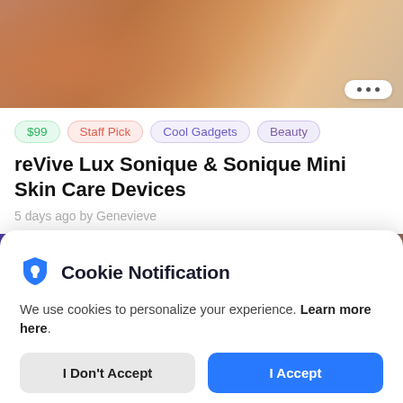[Figure (photo): Top product image showing skin/hand close-up with brownish/orange tones, with a three-dot menu button in white rounded rectangle at bottom right]
$99  Staff Pick  Cool Gadgets  Beauty
reVive Lux Sonique & Sonique Mini Skin Care Devices
5 days ago by Genevieve
[Figure (photo): Second product image showing dark purple/navy object on grey surface with warm toned background]
Cookie Notification
We use cookies to personalize your experience. Learn more here.
I Don't Accept
I Accept